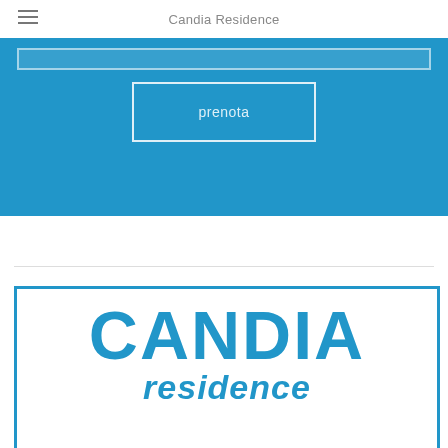Candia Residence
[Figure (other): Blue booking section with a prenota (book) button outlined in white on a blue background]
[Figure (logo): Candia Residence logo: large bold blue text CANDIA above italic blue text residence, inside a blue-bordered white rectangle]